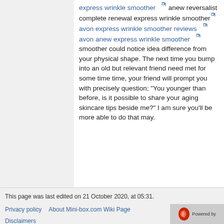express wrinkle smoother anew reversalist complete renewal express wrinkle smoother avon express wrinkle smoother reviews avon anew express wrinkle smoother smoother could notice idea difference from your physical shape. The next time you bump into an old but relevant friend need met for some time time, your friend will prompt you with precisely question; "You younger than before, is it possible to share your aging skincare tips beside me?" I am sure you'll be more able to do that may.
This page was last edited on 21 October 2020, at 05:31.
Privacy policy   About Mini-box.com Wiki Page
Disclaimers
[Figure (logo): Powered by logo with red icon]